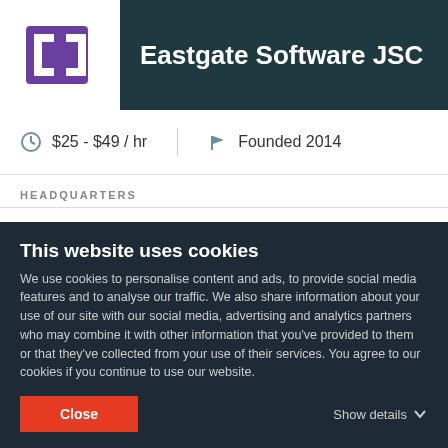Eastgate Software JSC
$25 - $49 / hr
Founded 2014
HEADQUARTERS
Hanoi, Vietnam
SHOW ALL +
[Figure (map): Map showing northern Vietnam including cities Yên Bái, Thái Nguyên, and Lạng Sơn]
This website uses cookies
We use cookies to personalise content and ads, to provide social media features and to analyse our traffic. We also share information about your use of our site with our social media, advertising and analytics partners who may combine it with other information that you've provided to them or that they've collected from your use of their services. You agree to our cookies if you continue to use our website.
Close
Show details